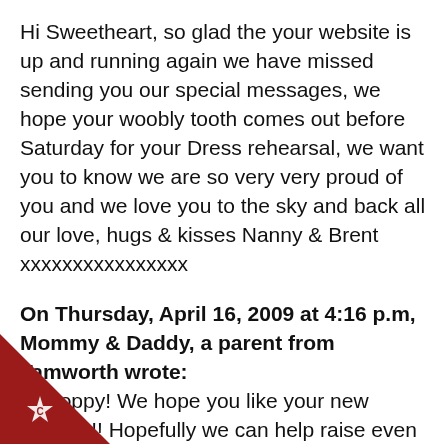Hi Sweetheart, so glad the your website is up and running again we have missed sending you our special messages, we hope your woobly tooth comes out before Saturday for your Dress rehearsal, we want you to know we are so very very proud of you and we love you to the sky and back all our love, hugs & kisses Nanny & Brent xxxxxxxxxxxxxxxx
On Thursday, April 16, 2009 at 4:16 p.m, Mommy & Daddy, a parent from Tamworth wrote: Hi Poppy! We hope you like your new website!! Hopefully we can help raise even more money for your hospital now & help other moms & dads too. We think you are amazing & we're so proud that you our little girl! Keep fighting sweetheart! Love, & kisses, Mommy & Daddy xxx
[Figure (logo): Small copyright/watermark logo — white star-like badge with letter C, on a dark red triangular corner element in the bottom-left of the page.]